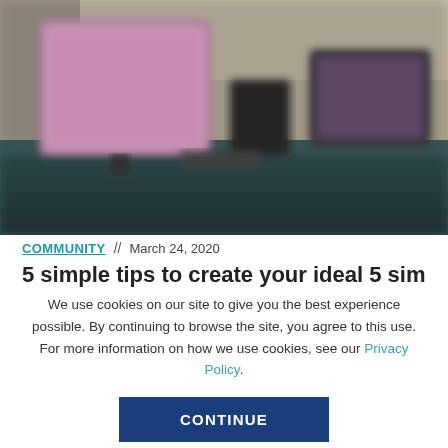[Figure (photo): Blurry photo of a desk workspace with monitors, one pink/magenta screen on the left and a smaller screen on the right, on a teal/dark desk surface.]
COMMUNITY  //  March 24, 2020
5 simple tips to create your ideal
We use cookies on our site to give you the best experience possible. By continuing to browse the site, you agree to this use. For more information on how we use cookies, see our Privacy Policy.
CONTINUE